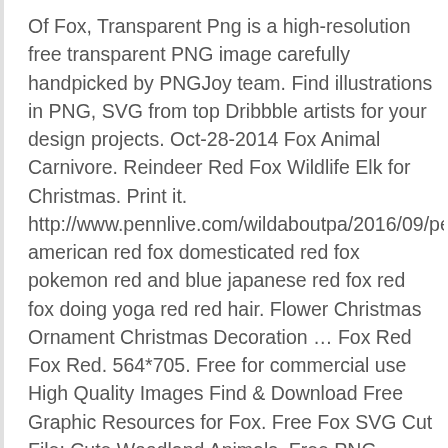Of Fox, Transparent Png is a high-resolution free transparent PNG image carefully handpicked by PNGJoy team. Find illustrations in PNG, SVG from top Dribbble artists for your design projects. Oct-28-2014 Fox Animal Carnivore. Reindeer Red Fox Wildlife Elk for Christmas. Print it. http://www.pennlive.com/wildaboutpa/2016/09/pennsyl american red fox domesticated red fox pokemon red and blue japanese red fox red fox doing yoga red red hair. Flower Christmas Ornament Christmas Decoration ... Fox Red Fox Red. 564*705. Free for commercial use High Quality Images Find & Download Free Graphic Resources for Fox. Free Fox SVG Cut File: Cute Woodland Animals. Free PNG images, Clipart, Graphics, Textures, Backgrounds, Photos and PSD files. Starving_Red_Fox.png  (150 × 150 pixels, file size: 32 KB, MIME type: image/png) File uploaded with MsUpload File history: Explore